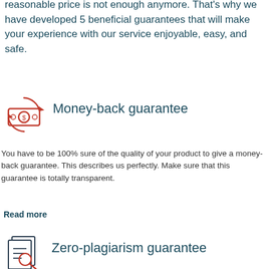reasonable price is not enough anymore. That's why we have developed 5 beneficial guarantees that will make your experience with our service enjoyable, easy, and safe.
[Figure (illustration): Icon of a money/cash bill with circular refresh arrows, in red outline style]
Money-back guarantee
You have to be 100% sure of the quality of your product to give a money-back guarantee. This describes us perfectly. Make sure that this guarantee is totally transparent.
Read more
[Figure (illustration): Icon of a document/report with a magnifying glass, in dark outline style]
Zero-plagiarism guarantee